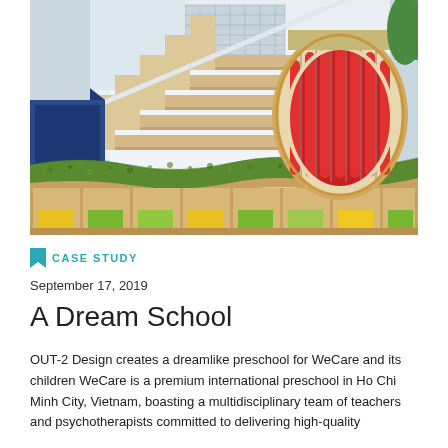[Figure (photo): Interior of a creative preschool space showing a wavy bench/shelf unit with colorful cubbies underneath in yellow, green and blue, a blue nook built under wooden stairs, and a large egg-shaped reading pod with red cushioned interior and wooden surround. A green textured surface runs along the top of the wave shelf.]
CASE STUDY
September 17, 2019
A Dream School
OUT-2 Design creates a dreamlike preschool for WeCare and its children WeCare is a premium international preschool in Ho Chi Minh City, Vietnam, boasting a multidisciplinary team of teachers and psychotherapists committed to delivering high-quality